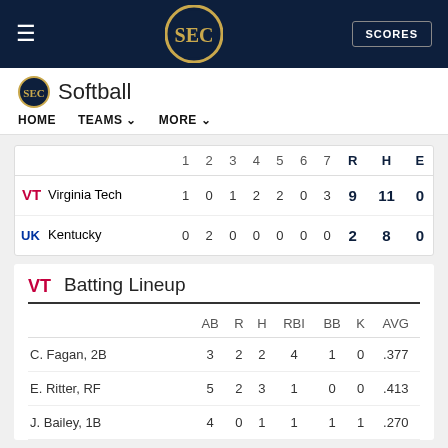SEC Softball — HOME  TEAMS  MORE
|  | 1 | 2 | 3 | 4 | 5 | 6 | 7 | R | H | E |
| --- | --- | --- | --- | --- | --- | --- | --- | --- | --- | --- |
| Virginia Tech | 1 | 0 | 1 | 2 | 2 | 0 | 3 | 9 | 11 | 0 |
| Kentucky | 0 | 2 | 0 | 0 | 0 | 0 | 0 | 2 | 8 | 0 |
Batting Lineup
|  | AB | R | H | RBI | BB | K | AVG |
| --- | --- | --- | --- | --- | --- | --- | --- |
| C. Fagan, 2B | 3 | 2 | 2 | 4 | 1 | 0 | .377 |
| E. Ritter, RF | 5 | 2 | 3 | 1 | 0 | 0 | .413 |
| J. Bailey, 1B | 4 | 0 | 1 | 1 | 1 | 1 | .270 |